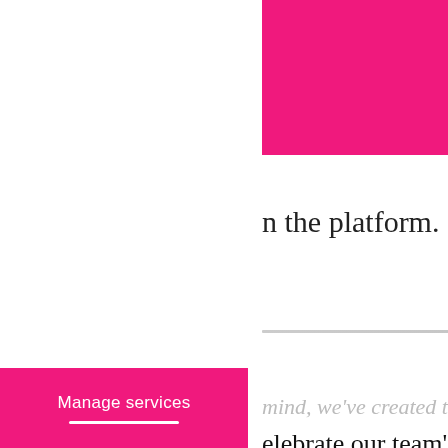Contact us.
n the platform.
mind. we've created this
elebrate our team's 10-year m
more people see your co
s has been rebranded to EWM
website!
ove your photo que
M Swiss
s all about creating high-qu
aging content in the form
Manage services